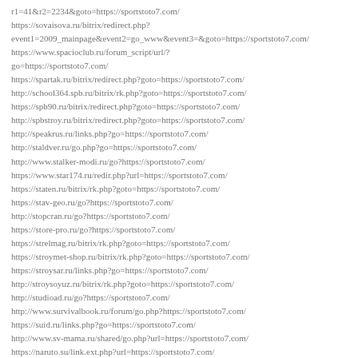r1=41&r2=2234&goto=https://sportstoto7.com/
https://sovaisova.ru/bitrix/redirect.php?event1=2009_mainpage&event2=go_www&event3=&goto=https://sportstoto7.com/
https://www.spacioclub.ru/forum_script/url/?go=https://sportstoto7.com/
https://spartak.ru/bitrix/redirect.php?goto=https://sportstoto7.com/
http://school364.spb.ru/bitrix/rk.php?goto=https://sportstoto7.com/
https://spb90.ru/bitrix/redirect.php?goto=https://sportstoto7.com/
http://spbstroy.ru/bitrix/redirect.php?goto=https://sportstoto7.com/
http://speakrus.ru/links.php?go=https://sportstoto7.com/
http://staldver.ru/go.php?go=https://sportstoto7.com/
http://www.stalker-modi.ru/go?https://sportstoto7.com/
https://www.star174.ru/redir.php?url=https://sportstoto7.com/
https://staten.ru/bitrix/rk.php?goto=https://sportstoto7.com/
https://stav-geo.ru/go?https://sportstoto7.com/
http://stopcran.ru/go?https://sportstoto7.com/
https://store-pro.ru/go?https://sportstoto7.com/
https://strelmag.ru/bitrix/rk.php?goto=https://sportstoto7.com/
https://stroymet-shop.ru/bitrix/rk.php?goto=https://sportstoto7.com/
https://stroysar.ru/links.php?go=https://sportstoto7.com/
http://stroysoyuz.ru/bitrix/rk.php?goto=https://sportstoto7.com/
http://studioad.ru/go?https://sportstoto7.com/
http://www.survivalbook.ru/forum/go.php?https://sportstoto7.com/
https://suid.ru/links.php?go=https://sportstoto7.com/
http://www.sv-mama.ru/shared/go.php?url=https://sportstoto7.com/
https://naruto.su/link.ext.php?url=https://sportstoto7.com/